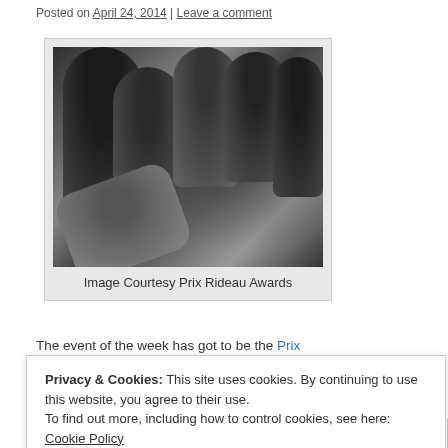Posted on April 24, 2014 | Leave a comment
[Figure (photo): Black and white photograph of a group of people (approximately 6 performers) posing together in a theatrical or performance setting]
Image Courtesy Prix Rideau Awards
The event of the week has got to be the Prix
Privacy & Cookies: This site uses cookies. By continuing to use this website, you agree to their use. To find out more, including how to control cookies, see here: Cookie Policy
Close and accept